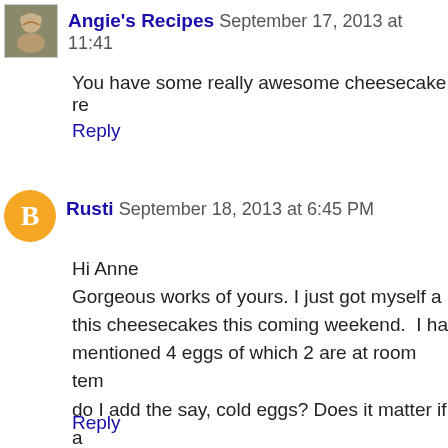Angie's Recipes September 17, 2013 at 11:41
You have some really awesome cheesecake re
Reply
Rusti September 18, 2013 at 6:45 PM
Hi Anne
Gorgeous works of yours. I just got myself a this cheesecakes this coming weekend. I ha mentioned 4 eggs of which 2 are at room tem do I add the say, cold eggs? Does it matter if a Thanks.
Ginny
Reply